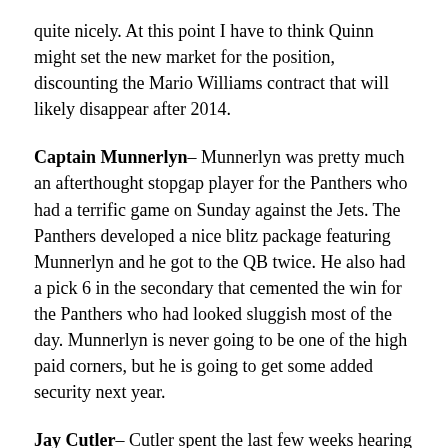quite nicely. At this point I have to think Quinn might set the new market for the position, discounting the Mario Williams contract that will likely disappear after 2014.
Captain Munnerlyn– Munnerlyn was pretty much an afterthought stopgap player for the Panthers who had a terrific game on Sunday against the Jets. The Panthers developed a nice blitz package featuring Munnerlyn and he got to the QB twice. He also had a pick 6 in the secondary that cemented the win for the Panthers who had looked sluggish most of the day. Munnerlyn is never going to be one of the high paid corners, but he is going to get some added security next year.
Jay Cutler– Cutler spent the last few weeks hearing about how he was no better than a player who was a journeyman. While Cutler had two bad interceptions the offense itself did not miss a beat, scoring 38 points in a critical victory over the Cleveland Browns.  Cutler completed 71% of his passes, spread the ball around to three receivers and led the team